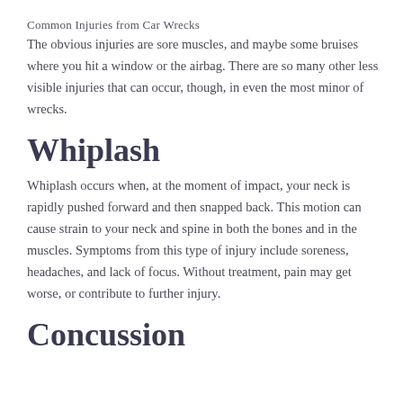Common Injuries from Car Wrecks
The obvious injuries are sore muscles, and maybe some bruises where you hit a window or the airbag. There are so many other less visible injuries that can occur, though, in even the most minor of wrecks.
Whiplash
Whiplash occurs when, at the moment of impact, your neck is rapidly pushed forward and then snapped back. This motion can cause strain to your neck and spine in both the bones and in the muscles. Symptoms from this type of injury include soreness, headaches, and lack of focus. Without treatment, pain may get worse, or contribute to further injury.
Concussion